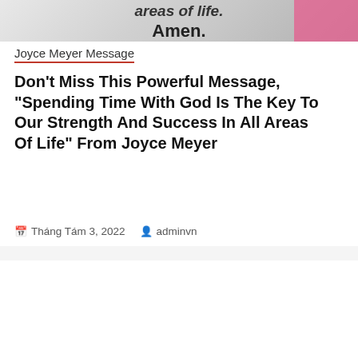[Figure (photo): Partial top image with text 'areas of life. Amen.' in bold on a grey/pink background]
Joyce Meyer Message
Don't Miss This Powerful Message, "Spending Time With God Is The Key To Our Strength And Success In All Areas Of Life" From Joyce Meyer
Tháng Tám 3, 2022   adminvn
[Figure (photo): Inspirational quote image with blue/purple gradient background and woman with raised hand. Text: 'Forgiveness is not a feeling – it's a decision we make because we want to do what's right before God. Joyce Meyer']